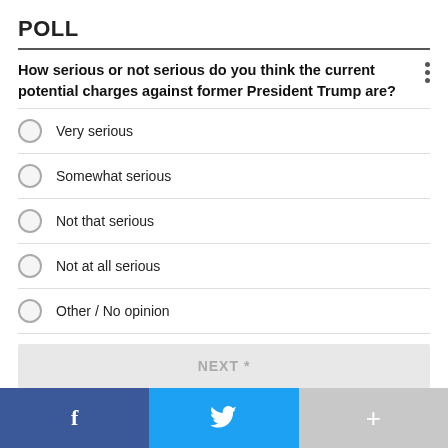POLL
How serious or not serious do you think the current potential charges against former President Trump are?
Very serious
Somewhat serious
Not that serious
Not at all serious
Other / No opinion
NEXT *
* By clicking "NEXT" you agree to the following: We use cookies to